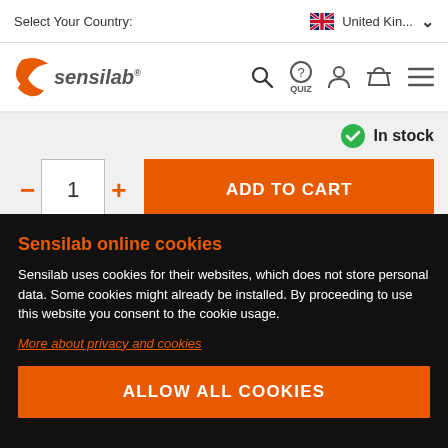Select Your Country: United Kin...
[Figure (logo): Sensilab orange butterfly logo with 'sensilab' text]
[Figure (screenshot): Navigation icons: search, quiz, account, basket, menu]
In stock
1  ADD TO CART
Sensilab online cookies
Sensilab uses cookies for their websites, which does not store personal data. Some cookies might already be installed. By proceeding to use this website you consent to the cookie usage.
More about privacy and cookies
ALLOW ALL COOKIES